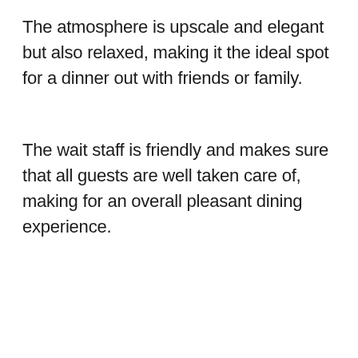The atmosphere is upscale and elegant but also relaxed, making it the ideal spot for a dinner out with friends or family.
The wait staff is friendly and makes sure that all guests are well taken care of, making for an overall pleasant dining experience.